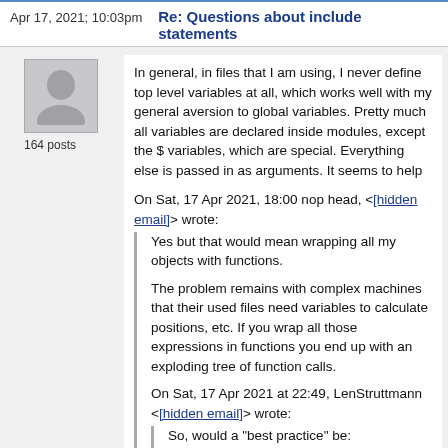Apr 17, 2021; 10:03pm   Re: Questions about include statements
[Figure (illustration): Avatar silhouette icon, grey background, 164 posts label below]
In general, in files that I am using, I never define top level variables at all, which works well with my general aversion to global variables. Pretty much all variables are declared inside modules, except the $ variables, which are special. Everything else is passed in as arguments. It seems to help
On Sat, 17 Apr 2021, 18:00 nop head, <[hidden email]> wrote:
Yes but that would mean wrapping all my objects with functions.

The problem remains with complex machines that their used files need variables to calculate positions, etc. If you wrap all those expressions in functions you end up with an exploding tree of function calls.
On Sat, 17 Apr 2021 at 22:49, LenStruttmann <[hidden email]> wrote:
So, would a "best practice" be:

(1) Assuming that libraries are well-designed with a minimum number of  instantiated variables,
(2) Part files include any libraries they need, but never instantiate global variables. Instead, they expose all values only via functions.
(3) The top level assembly only "use"s part files